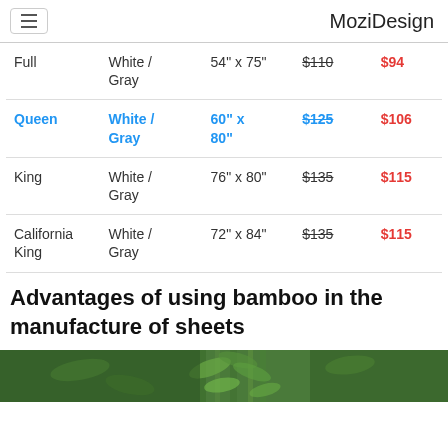MoziDesign
| Size | Color | Dimensions | Original | Sale |
| --- | --- | --- | --- | --- |
| Full | White / Gray | 54" x 75" | $110 | $94 |
| Queen | White / Gray | 60" x 80" | $125 | $106 |
| King | White / Gray | 76" x 80" | $135 | $115 |
| California King | White / Gray | 72" x 84" | $135 | $115 |
Advantages of using bamboo in the manufacture of sheets
[Figure (photo): Photo of bamboo plants, green foliage]